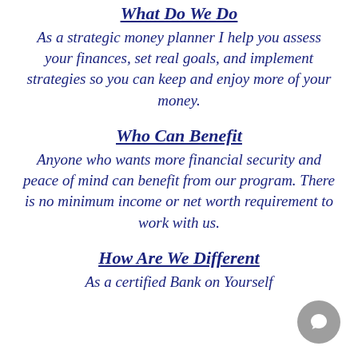What Do We Do
As a strategic money planner I help you assess your finances, set real goals, and implement strategies so you can keep and enjoy more of your money.
Who Can Benefit
Anyone who wants more financial security and peace of mind can benefit from our program. There is no minimum income or net worth requirement to work with us.
How Are We Different
As a certified Bank on Yourself